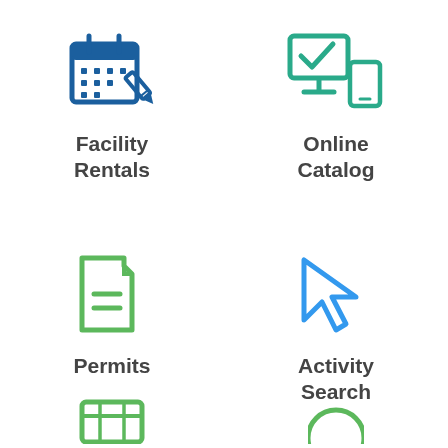[Figure (illustration): Calendar/facility rentals icon - blue outline calendar with pencil]
Facility Rentals
[Figure (illustration): Online catalog icon - teal monitor with checkmark and mobile device]
Online Catalog
[Figure (illustration): Permits icon - green document/file with lines]
Permits
[Figure (illustration): Activity Search icon - blue cursor/pointer arrow]
Activity Search
[Figure (illustration): Partial icon at bottom left - green calendar or table icon, partially visible]
[Figure (illustration): Partial icon at bottom right - green circle icon, partially visible]